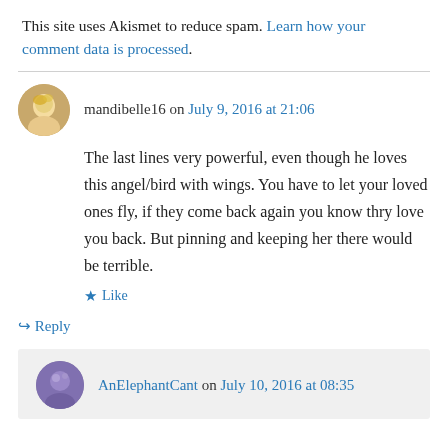This site uses Akismet to reduce spam. Learn how your comment data is processed.
mandibelle16 on July 9, 2016 at 21:06
The last lines very powerful, even though he loves this angel/bird with wings. You have to let your loved ones fly, if they come back again you know thry love you back. But pinning and keeping her there would be terrible.
Like
Reply
AnElephantCant on July 10, 2016 at 08:35